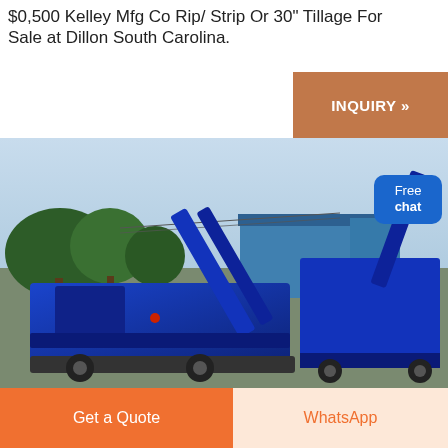$0,500 Kelley Mfg Co Rip/ Strip Or 30" Tillage For Sale at Dillon South Carolina.
[Figure (photo): Photo of a large blue agricultural tillage machine/vehicle parked outdoors near trees and a blue metal building, with a clear sky background. A woman figure and 'Free chat' button overlay visible in the top-right corner of the image.]
INQUIRY »
Free chat
Get a Quote
WhatsApp